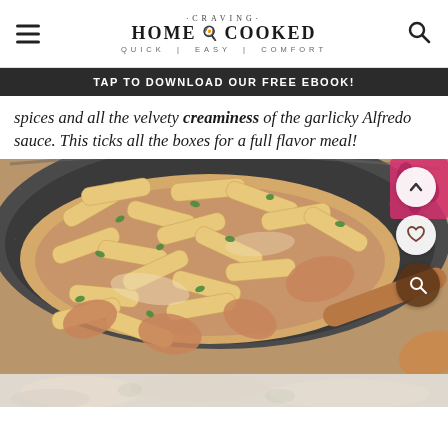CRAVING HOME COOKED — QUICK | EASY | COMFORT
TAP TO DOWNLOAD OUR FREE EBOOK!
spices and all the velvety creaminess of the garlicky Alfredo sauce. This ticks all the boxes for a full flavor meal!
[Figure (photo): A close-up photo of penne pasta in a creamy Alfredo sauce with chicken and garnished with fresh parsley in a dark speckled pan, with a wooden spoon. Social action buttons (up arrow, heart, magnifying glass) visible on the right side.]
[Figure (photo): Bottom strip of another food photo partially visible]